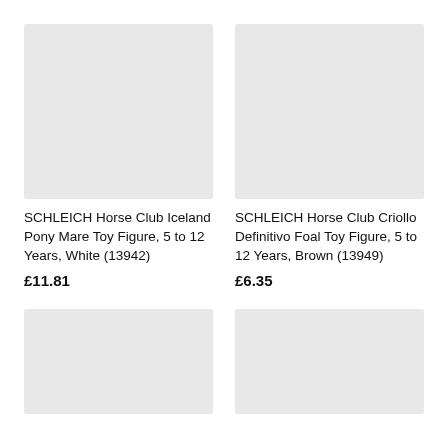[Figure (photo): Product image placeholder for SCHLEICH Horse Club Iceland Pony Mare Toy Figure, light grey rectangle]
[Figure (photo): Product image placeholder for SCHLEICH Horse Club Criollo Definitivo Foal Toy Figure, light grey rectangle]
SCHLEICH Horse Club Iceland Pony Mare Toy Figure, 5 to 12 Years, White (13942)
£11.81
SCHLEICH Horse Club Criollo Definitivo Foal Toy Figure, 5 to 12 Years, Brown (13949)
£6.35
[Figure (photo): Product image placeholder, light grey rectangle, bottom left]
[Figure (photo): Product image placeholder, light grey rectangle, bottom right]